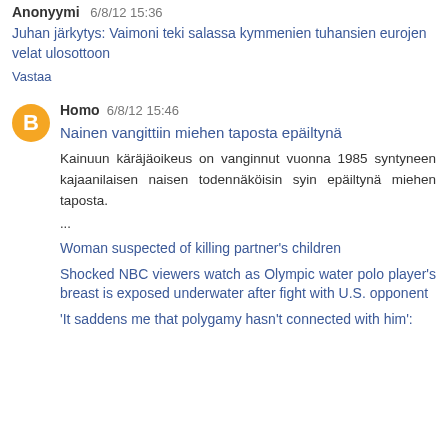Anonyymi 6/8/12 15:36
Juhan järkytys: Vaimoni teki salassa kymmenien tuhansien eurojen velat ulosottoon
Vastaa
Homo 6/8/12 15:46
Nainen vangittiin miehen taposta epäiltynä
Kainuun käräjäoikeus on vanginnut vuonna 1985 syntyneen kajaanilaisen naisen todennäköisin syin epäiltynä miehen taposta.
...
Woman suspected of killing partner's children
Shocked NBC viewers watch as Olympic water polo player's breast is exposed underwater after fight with U.S. opponent
'It saddens me that polygamy hasn't connected with him':